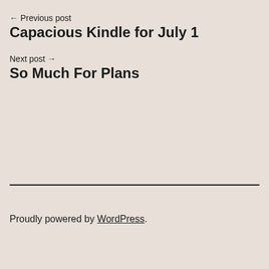← Previous post
Capacious Kindle for July 1
Next post →
So Much For Plans
Proudly powered by WordPress.